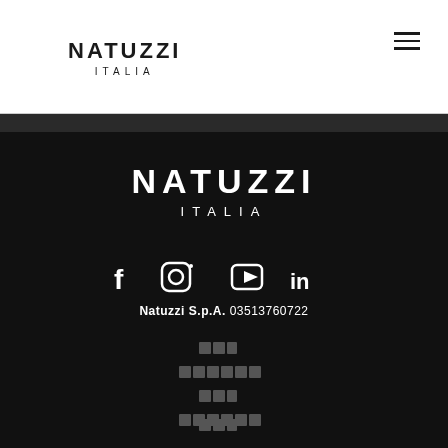[Figure (logo): Natuzzi Italia logo in header, black text on white background]
[Figure (logo): Natuzzi Italia logo in footer, white text on black background]
[Figure (infographic): Social media icons row: Facebook, Instagram, YouTube, LinkedIn - white icons on black background]
Natuzzi S.p.A. 03513760722
[Figure (other): Pixelated/unreadable text blocks - appears to be navigation links or address info rendered as pixel blocks]
[Figure (other): Pixelated/unreadable text block at bottom]